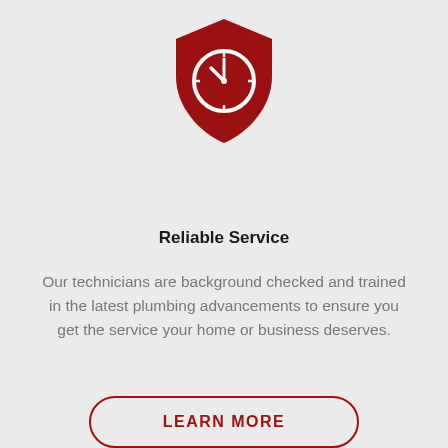[Figure (illustration): Dark red shield icon with a clock face in the center, representing reliability and time-based service.]
Reliable Service
Our technicians are background checked and trained in the latest plumbing advancements to ensure you get the service your home or business deserves.
LEARN MORE